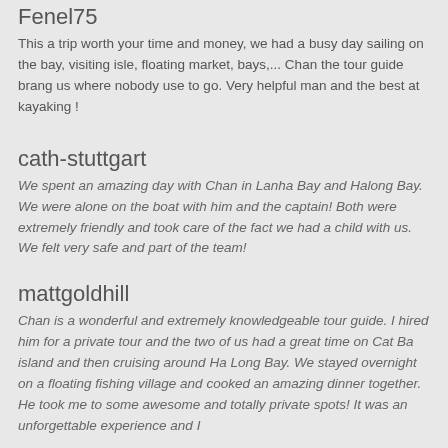Fenel75
This a trip worth your time and money, we had a busy day sailing on the bay, visiting isle, floating market, bays,... Chan the tour guide brang us where nobody use to go. Very helpful man and the best at kayaking !
cath-stuttgart
We spent an amazing day with Chan in Lanha Bay and Halong Bay. We were alone on the boat with him and the captain! Both were extremely friendly and took care of the fact we had a child with us.
We felt very safe and part of the team!
mattgoldhill
Chan is a wonderful and extremely knowledgeable tour guide. I hired him for a private tour and the two of us had a great time on Cat Ba island and then cruising around Ha Long Bay. We stayed overnight on a floating fishing village and cooked an amazing dinner together. He took me to some awesome and totally private spots! It was an unforgettable experience and I